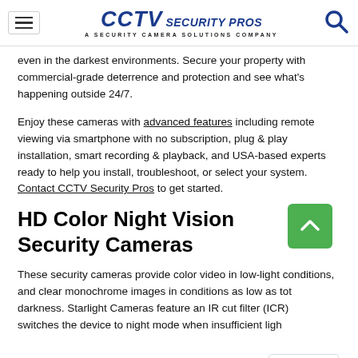CCTV SECURITY PROS A SECURITY CAMERA SOLUTIONS COMPANY
even in the darkest environments. Secure your property with commercial-grade deterrence and protection and see what's happening outside 24/7.
Enjoy these cameras with advanced features including remote viewing via smartphone with no subscription, plug & play installation, smart recording & playback, and USA-based experts ready to help you install, troubleshoot, or select your system. Contact CCTV Security Pros to get started.
HD Color Night Vision Security Cameras
These security cameras provide color video in low-light conditions, and clear monochrome images in conditions as low as total darkness. Starlight Cameras feature an IR cut filter (ICR) switches the device to night mode when insufficient ligh